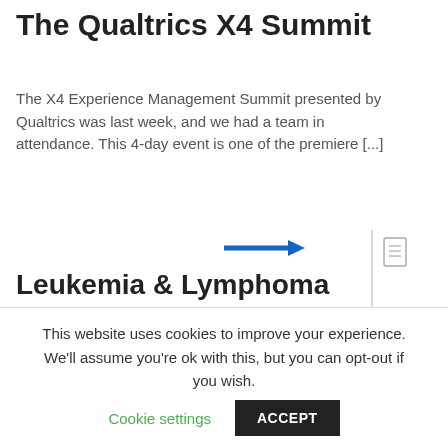The Qualtrics X4 Summit
The X4 Experience Management Summit presented by Qualtrics was last week, and we had a team in attendance. This 4-day event is one of the premiere [...]
[Figure (other): Blue right-pointing arrow with a vertical divider line and a document icon to the right]
Leukemia & Lymphoma Society Company of the Year Campaign: Week 2 Update
This website uses cookies to improve your experience. We'll assume you're ok with this, but you can opt-out if you wish. Cookie settings ACCEPT